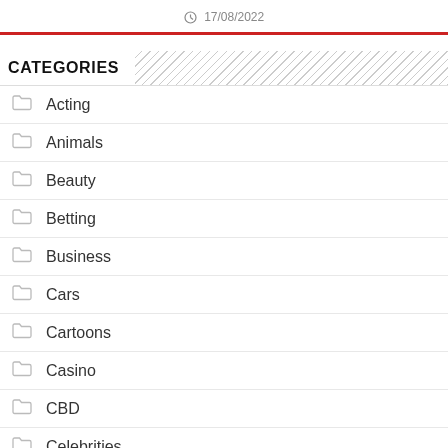17/08/2022
CATEGORIES
Acting
Animals
Beauty
Betting
Business
Cars
Cartoons
Casino
CBD
Celebrities